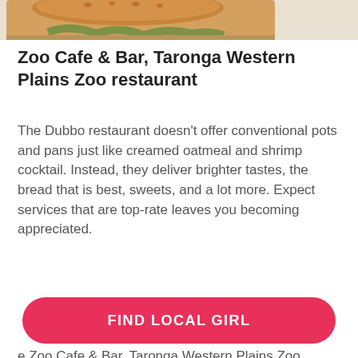[Figure (photo): Partial photo of a sandwich/food item at the top of the page]
Zoo Cafe & Bar, Taronga Western Plains Zoo restaurant
The Dubbo restaurant doesn't offer conventional pots and pans just like creamed oatmeal and shrimp cocktail. Instead, they deliver brighter tastes, the bread that is best, sweets, and a lot more. Expect services that are top-rate leaves you becoming appreciated.
e Zoo Cafe & Bar, Taronga Western Plains Zoo taurant makes use of just Japanese seafood to anize sashimi and nigiri. But, something that should make it different from some other dining
FIND LOCAL GIRL